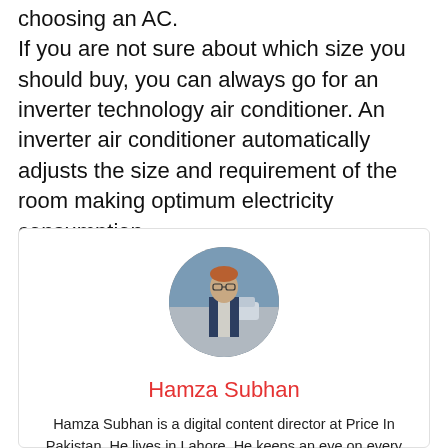choosing an AC. If you are not sure about which size you should buy, you can always go for an inverter technology air conditioner. An inverter air conditioner automatically adjusts the size and requirement of the room making optimum electricity consumption.
[Figure (photo): Circular profile photo of a man wearing glasses and a vest, standing outdoors on a street.]
Hamza Subhan
Hamza Subhan is a digital content director at Price In Pakistan. He lives in Lahore. He keeps an eye on every new item in the markets of Pakistan and his hand on the pulse